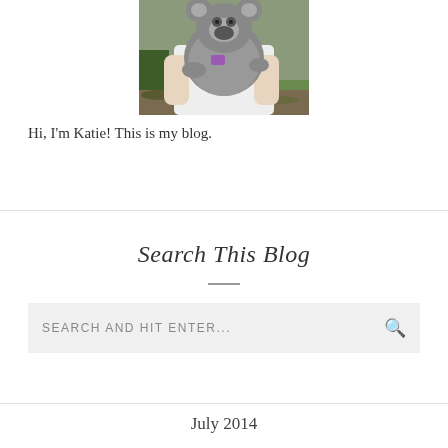[Figure (photo): Photo of a person holding a koala bear outdoors]
Hi, I'm Katie! This is my blog.
Search This Blog
SEARCH AND HIT ENTER...
July 2014